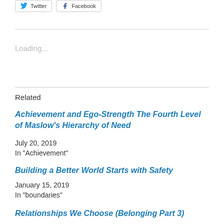[Figure (other): Social share buttons: Twitter and Facebook]
Loading...
Related
Achievement and Ego-Strength The Fourth Level of Maslow's Hierarchy of Need
July 20, 2019
In "Achievement"
Building a Better World Starts with Safety
January 15, 2019
In "boundaries"
Relationships We Choose (Belonging Part 3)